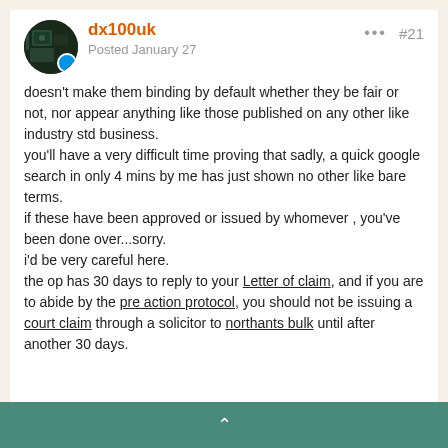dx100uk — Posted January 27 — #21
doesn't make them binding by default whether they be fair or not, nor appear anything like those published on any other like industry std business.
you'll have a very difficult time proving that sadly, a quick google search in only 4 mins by me has just shown no other like bare terms.
if these have been approved or issued by whomever , you've been done over...sorry.
i'd be very careful here.
the op has 30 days to reply to your Letter of claim, and if you are to abide by the pre action protocol, you should not be issuing a court claim through a solicitor to northants bulk until after another 30 days.